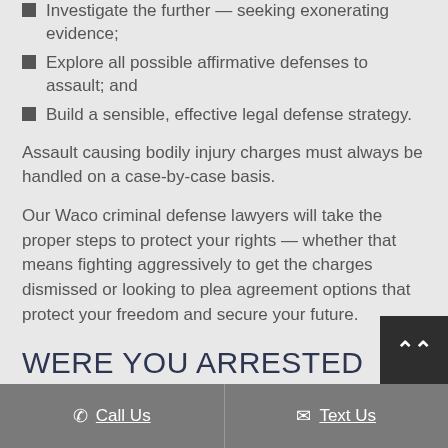Investigate the further — seeking exonerating evidence;
Explore all possible affirmative defenses to assault; and
Build a sensible, effective legal defense strategy.
Assault causing bodily injury charges must always be handled on a case-by-case basis.
Our Waco criminal defense lawyers will take the proper steps to protect your rights — whether that means fighting aggressively to get the charges dismissed or looking to plea agreement options that protect your freedom and secure your future.
WERE YOU ARRESTED FOR ASSAULT IN CENTRAL TEXAS?
Call Us   Text Us